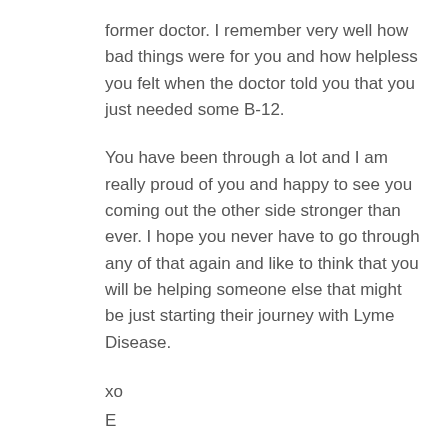former doctor. I remember very well how bad things were for you and how helpless you felt when the doctor told you that you just needed some B-12.
You have been through a lot and I am really proud of you and happy to see you coming out the other side stronger than ever. I hope you never have to go through any of that again and like to think that you will be helping someone else that might be just starting their journey with Lyme Disease.
xo
E